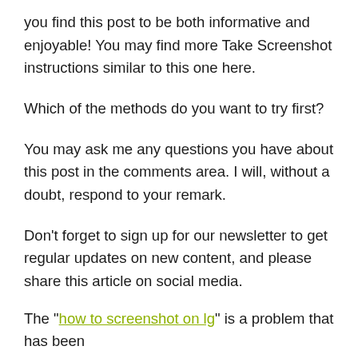you find this post to be both informative and enjoyable! You may find more Take Screenshot instructions similar to this one here.
Which of the methods do you want to try first?
You may ask me any questions you have about this post in the comments area. I will, without a doubt, respond to your remark.
Don't forget to sign up for our newsletter to get regular updates on new content, and please share this article on social media.
The "how to screenshot on lg" is a problem that has been